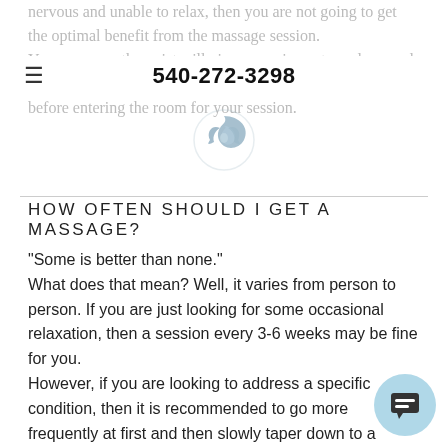nervous and unable to relax, then you are not going to get the optimal benefit from the massage session. Your massage therapist will give you privacy to undress and get comfortable on the table and under the sheet/blanket before entering the room for your session.
540-272-3298
[Figure (logo): A circular yin-yang style logo with blue/grey swirling bird or wave shapes]
HOW OFTEN SHOULD I GET A MASSAGE?
"Some is better than none."
What does that mean? Well, it varies from person to person. If you are just looking for some occasional relaxation, then a session every 3-6 weeks may be fine for you.
However, if you are looking to address a specific condition, then it is recommended to go more frequently at first and then slowly taper down to a maintenance schedule. Frequency of sessions should be discussed with your massage therapist after your treatment when he/she has a better hands-on understanding of your particular